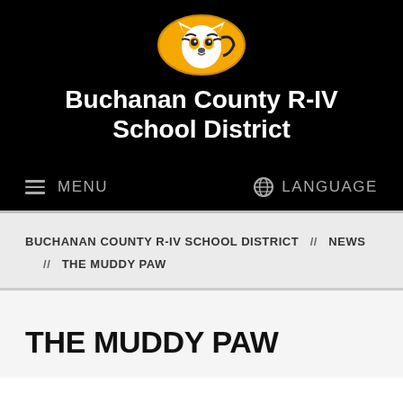[Figure (logo): Mizzou-style tiger head logo in gold and black oval]
Buchanan County R-IV School District
MENU   LANGUAGE
BUCHANAN COUNTY R-IV SCHOOL DISTRICT // NEWS // THE MUDDY PAW
THE MUDDY PAW